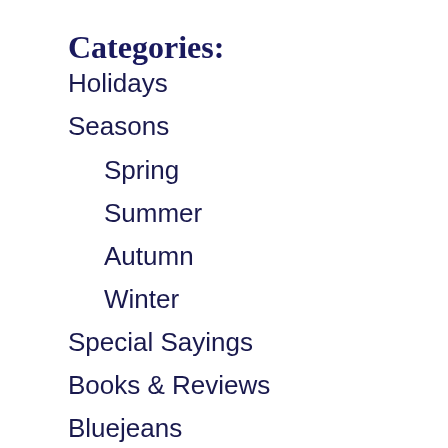Categories:
Holidays
Seasons
Spring
Summer
Autumn
Winter
Special Sayings
Books & Reviews
Bluejeans
View All